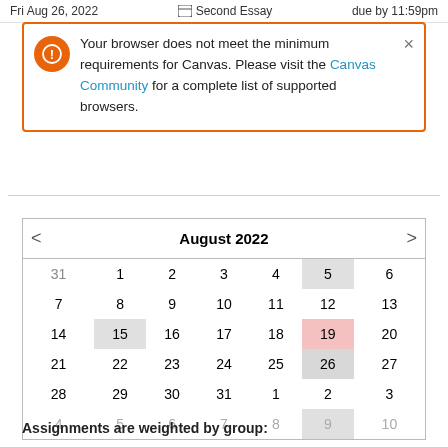Fri Aug 26, 2022   Second Essay   due by 11:59pm
Your browser does not meet the minimum requirements for Canvas. Please visit the Canvas Community for a complete list of supported browsers.
|  | August 2022 |  |
| --- | --- | --- |
| 31 | 1 | 2 | 3 | 4 | 5 | 6 |
| 7 | 8 | 9 | 10 | 11 | 12 | 13 |
| 14 | 15 | 16 | 17 | 18 | 19 | 20 |
| 21 | 22 | 23 | 24 | 25 | 26 | 27 |
| 28 | 29 | 30 | 31 | 1 | 2 | 3 |
| 4 | 5 | 6 | 7 | 8 | 9 | 10 |
Assignments are weighted by group: